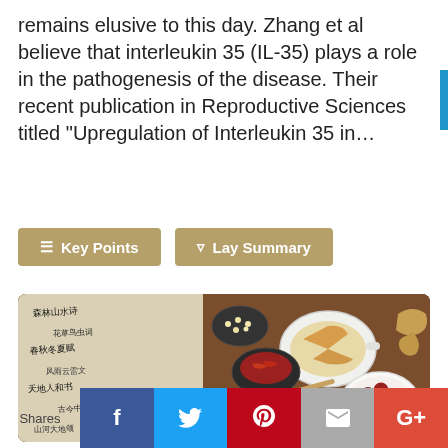remains elusive to this day. Zhang et al believe that interleukin 35 (IL-35) plays a role in the pathogenesis of the disease. Their recent publication in Reproductive Sciences titled “Upregulation of Interleukin 35 in…
Key Points
Lay Summary
[Figure (photo): Photo of traditional Chinese herbal medicine ingredients including bowls of dried herbs, spices, seeds, and red dates arranged on a wooden surface alongside a Chinese calligraphy scroll]
Shares
[Figure (infographic): Social media share buttons row: Facebook (blue), Twitter (light blue), Pinterest (red), Email (grey), Google+ (orange-red)]